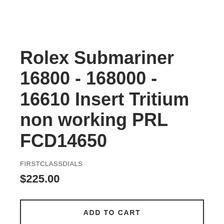Rolex Submariner 16800 - 168000 - 16610 Insert Tritium non working PRL FCD14650
FIRSTCLASSDIALS
$225.00
ADD TO CART